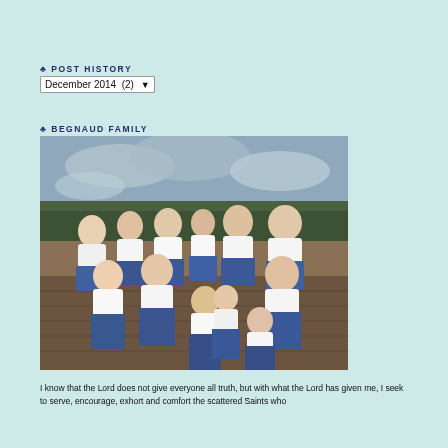♣ POST HISTORY
December 2014  (2)  ▾
♣ BEGNAUD FAMILY
[Figure (photo): A large family group photo of approximately 12 people of various ages, all wearing white shirts and jeans, sitting and standing outdoors on what appears to be a wooden dock or deck with water and trees in the background.]
I know that the Lord does not give everyone all truth, but with what the Lord has given me, I seek to serve, encourage, exhort and comfort the scattered Saints who